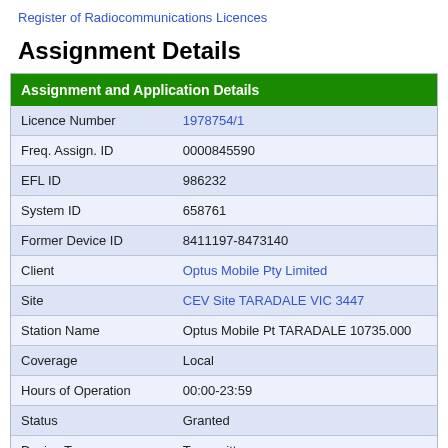Register of Radiocommunications Licences
Assignment Details
| Assignment and Application Details |  |
| --- | --- |
| Licence Number | 1978754/1 |
| Freq. Assign. ID | 0000845590 |
| EFL ID | 986232 |
| System ID | 658761 |
| Former Device ID | 8411197-8473140 |
| Client | Optus Mobile Pty Limited |
| Site | CEV Site TARADALE VIC 3447 |
| Station Name | Optus Mobile Pt TARADALE 10735.000 |
| Coverage | Local |
| Hours of Operation | 00:00-23:59 |
| Status | Granted |
| Device Type | Transmitter |